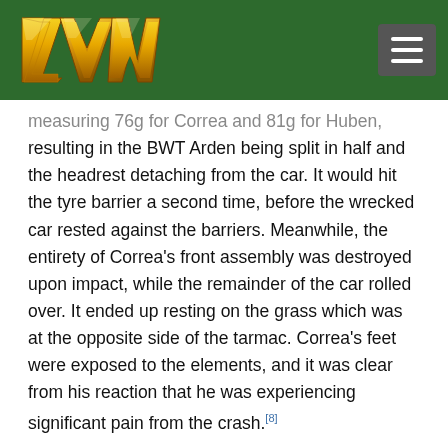LMW logo and navigation
measuring 76g for Correa and 81g for Huben, resulting in the BWT Arden being split in half and the headrest detaching from the car. It would hit the tyre barrier a second time, before the wrecked car rested against the barriers. Meanwhile, the entirety of Correa's front assembly was destroyed upon impact, while the remainder of the car rolled over. It ended up resting on the grass which was at the opposite side of the tarmac. Correa's feet were exposed to the elements, and it was clear from his reaction that he was experiencing significant pain from the crash.[8]
Aftermath
The race was immediately red flagged, with both drivers being airlifted from the scene by...